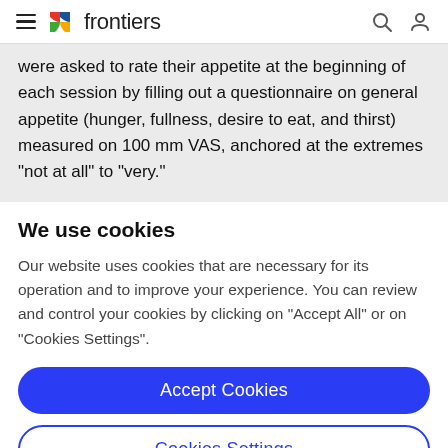frontiers
were asked to rate their appetite at the beginning of each session by filling out a questionnaire on general appetite (hunger, fullness, desire to eat, and thirst) measured on 100 mm VAS, anchored at the extremes "not at all" to "very."
We use cookies
Our website uses cookies that are necessary for its operation and to improve your experience. You can review and control your cookies by clicking on "Accept All" or on "Cookies Settings".
Accept Cookies
Cookies Settings